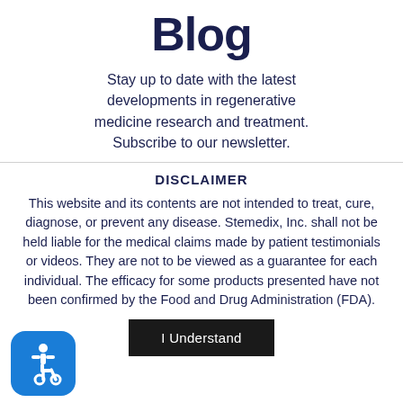Blog
Stay up to date with the latest developments in regenerative medicine research and treatment. Subscribe to our newsletter.
DISCLAIMER
This website and its contents are not intended to treat, cure, diagnose, or prevent any disease. Stemedix, Inc. shall not be held liable for the medical claims made by patient testimonials or videos. They are not to be viewed as a guarantee for each individual. The efficacy for some products presented have not been confirmed by the Food and Drug Administration (FDA).
[Figure (illustration): Accessibility icon — white wheelchair user symbol on blue rounded square background]
I Understand